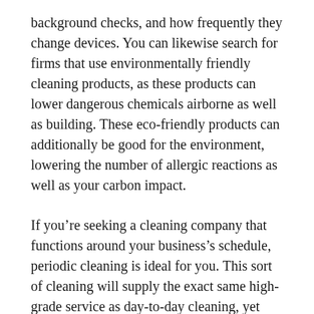background checks, and how frequently they change devices. You can likewise search for firms that use environmentally friendly cleaning products, as these products can lower dangerous chemicals airborne as well as building. These eco-friendly products can additionally be good for the environment, lowering the number of allergic reactions as well as your carbon impact.
If you’re seeking a cleaning company that functions around your business’s schedule, periodic cleaning is ideal for you. This sort of cleaning will supply the exact same high-grade service as day-to-day cleaning, yet will come with a regular period as opposed to everyday. You ought to additionally consider whether